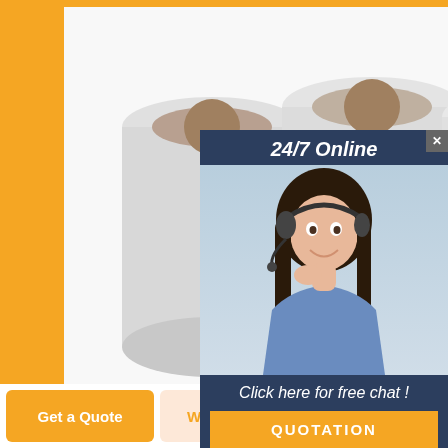[Figure (photo): Several large white rolls of paper/material stacked together on a white background, photographed from a slight angle showing the circular ends of the rolls. Displayed on an orange-bordered white card.]
[Figure (screenshot): Popup overlay showing a customer service representative (woman with headset, smiling, dark hair) with dark blue background, text '24/7 Online', 'Click here for free chat!', and an orange QUOTATION button. Has an X close button in top right corner.]
Top 10 Best Ice Fishing Shelter Reviews
20211214 · Nordic Legend HexHub 6 to 8 Man Portable Thermal Ice Shelter. 8. Goplus Portable Ice Shelter Popup Ice Fishing Tent Shanty w/Bag and Ice An
Get a Quote
WhatsApp
Chat Now